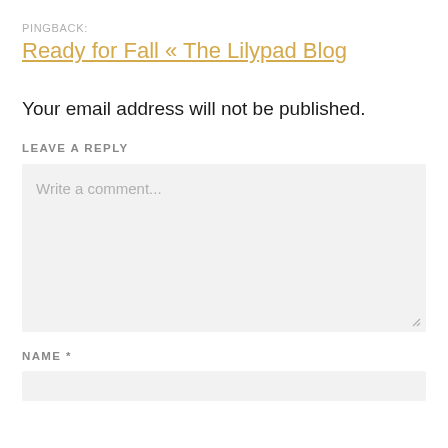PINGBACK:
Ready for Fall « The Lilypad Blog
Your email address will not be published.
LEAVE A REPLY
Write a comment...
NAME *